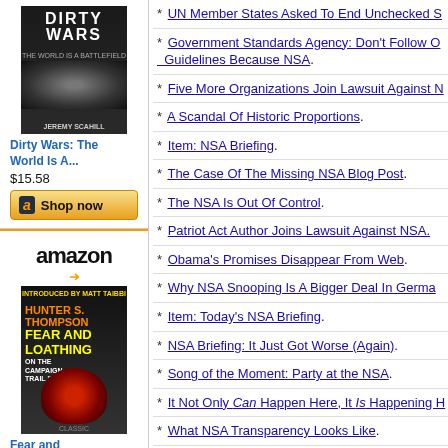[Figure (other): Amazon ad for 'Dirty Wars: The World Is A...' book cover, $15.58, Shop now button]
[Figure (other): Amazon ad for 'Fear and Loathing on...' book cover by Hunter S. Thompson, $15.89, Prime, Shop now button]
* UN Member States Asked To End Unchecked S...
* Government Standards Agency: Don't Follow O... Guidelines Because NSA.
* Five More Organizations Join Lawsuit Against N...
* A Scandal Of Historic Proportions.
* Item: NSA Briefing.
* The Case Of The Missing NSA Blog Post.
* The NSA Is Out Of Control.
* Patriot Act Author Joins Lawsuit Against NSA.
* Obama's Promises Disappear From Web.
* Why NSA Snooping Is A Bigger Deal In Germa...
* Item: Today's NSA Briefing.
* NSA Briefing: It Just Got Worse (Again).
* Song of the Moment: Party at the NSA.
* It Not Only Can Happen Here, It Is Happening H...
* What NSA Transparency Looks Like.
* America's Lying About Spying: Worse Than You...
* Obama Continues To Lie His Ass Off About The...
* The Surveillance Reforms Obama Supported Be...